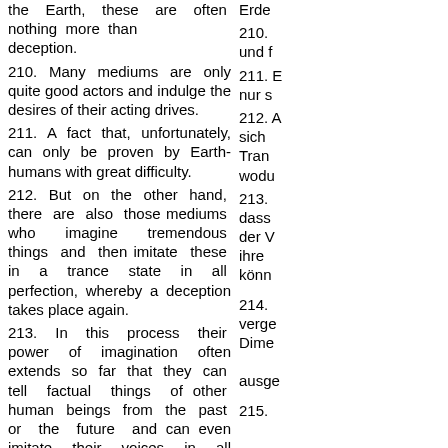the Earth, these are often nothing more than deception.
Erde...
210. Many mediums are only quite good actors and indulge the desires of their acting drives.
210. und f...
211. A fact that, unfortunately, can only be proven by Earth-humans with great difficulty.
211. nur s...
212. But on the other hand, there are also those mediums who imagine tremendous things and then imitate these in a trance state in all perfection, whereby a deception takes place again.
212. A sich Trand wodu...
213. In this process their power of imagination often extends so far that they can tell factual things of other human beings from the past or the future and can even imitate their voices in all perfection.
213. dass der V ihre könne...
214. But also not to be forgotten are those mediums who are exploited by some beings of other dimensions just for fun or maliciously.
214. verge Dime ausge...
215. There are actually only very few real mediums,
215.